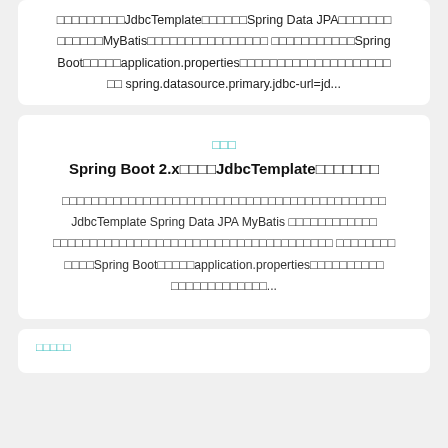□□□□□□□□□JdbcTemplate□□□□□□Spring Data JPA□□□□□□□ □□□□□□MyBatis□□□□□□□□□□□□□□□□ □□□□□□□□□□□Spring Boot□□□□□application.properties□□□□□□□□□□□□□□□□□□□□ □□ spring.datasource.primary.jdbc-url=jd...
□□□
Spring Boot 2.x□□□□JdbcTemplate□□□□□□□
□□□□□□□□□□□□□□□□□□□□□□□□□□□□□□□□□□□□□□□□□□□□ JdbcTemplate Spring Data JPA MyBatis □□□□□□□□□□□□□□□□□□□□□□□□□□□□□□□□□□□□□□□□□□□□□□□□□□□ □□□□□□□□□□□□Spring Boot□□□□□application.properties□□□□□□□□□□□□□□□□□□□□□□□□□□...
□□□□□